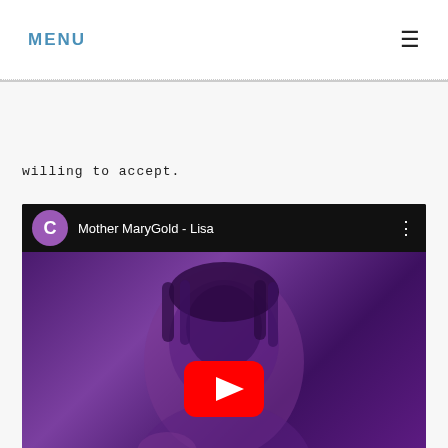MENU
willing to accept.
[Figure (screenshot): YouTube video embed showing 'Mother MaryGold - Lisa' with a purple-tinted thumbnail of a woman with braids and a play button overlay]